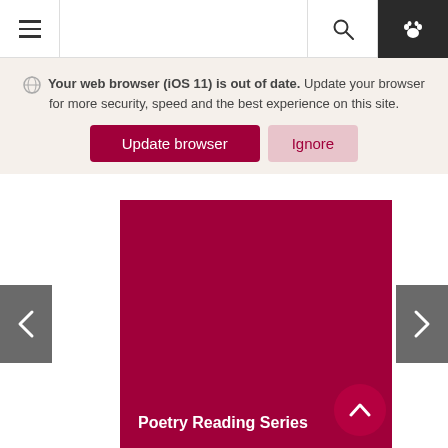[Figure (screenshot): Website navigation bar with hamburger menu icon on the left, search icon and paw icon (dark background) on the right]
Your web browser (iOS 11) is out of date. Update your browser for more security, speed and the best experience on this site.
Update browser
Ignore
[Figure (screenshot): Carousel showing a dark red/crimson card with title 'Poetry Reading Series', with left and right navigation arrows and a scroll-up button]
Poetry Reading Series